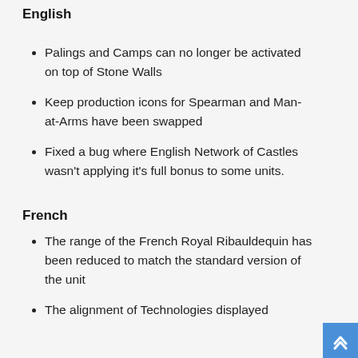English
Palings and Camps can no longer be activated on top of Stone Walls
Keep production icons for Spearman and Man-at-Arms have been swapped
Fixed a bug where English Network of Castles wasn't applying it's full bonus to some units.
French
The range of the French Royal Ribauldequin has been reduced to match the standard version of the unit
The alignment of Technologies displayed